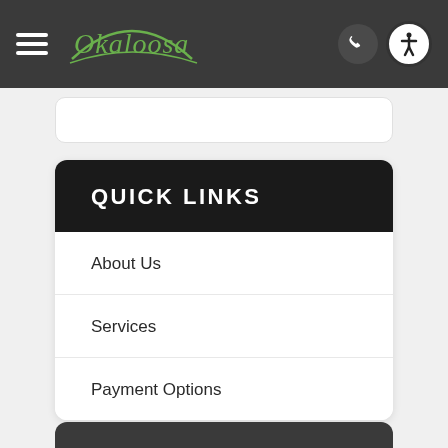Okaloosa — site header with hamburger menu, logo, phone button, and accessibility button
QUICK LINKS
About Us
Services
Payment Options